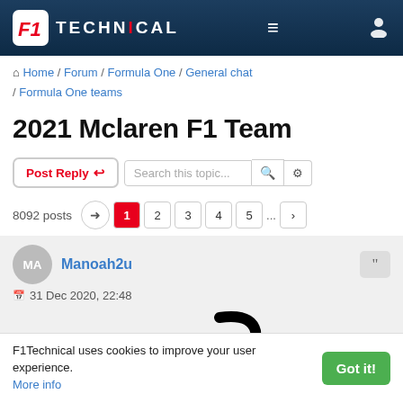F1Technical — site header with logo, menu, and user icon
Home / Forum / Formula One / General chat / Formula One teams
2021 Mclaren F1 Team
Post Reply | Search this topic... | 8092 posts | pages 1 2 3 4 5 ...
MA Manoah2u — 31 Dec 2020, 22:48
[Figure (logo): McLaren brand logo in black italic stylized font]
Team: 🇬🇧 McLaren F1 Team
F1Technical uses cookies to improve your user experience. More info  [Got it!]